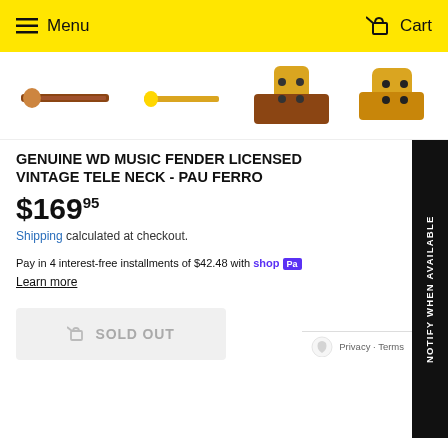Menu  Cart
[Figure (photo): Four product images of a Fender Telecaster guitar neck in Pau Ferro finish, shown from different angles]
GENUINE WD MUSIC FENDER LICENSED VINTAGE TELE NECK - PAU FERRO
$169.95
Shipping calculated at checkout.
Pay in 4 interest-free installments of $42.48 with shop Pay
Learn more
SOLD OUT
NOTIFY WHEN AVAILABLE
Privacy · Terms